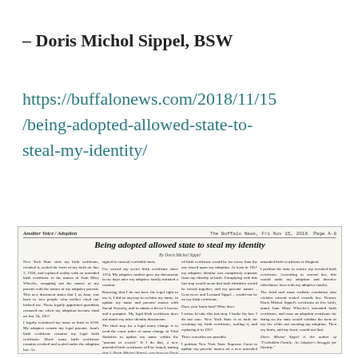– Doris Michol Sippel, BSW
https://buffalonews.com/2018/11/15/being-adopted-allowed-state-to-steal-my-identity/
[Figure (photo): Newspaper clipping from The Buffalo News, Fri Nov 15, 2018, Page A-8. Section: Another Voice / Adoption. Headline: 'Being adopted allowed state to steal my identity'. By Doris Michol Sippel. Two columns of article text.]